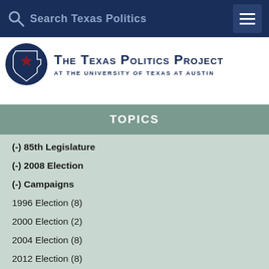Search Texas Politics
[Figure (logo): The Texas Politics Project at the University of Texas at Austin logo with Texas outline and star]
TOPICS
(-) 85th Legislature
(-) 2008 Election
(-) Campaigns
1996 Election (8)
2000 Election (2)
2004 Election (8)
2012 Election (8)
2014 Election (1)
Budget and Taxes (4)
Comptroller (4)